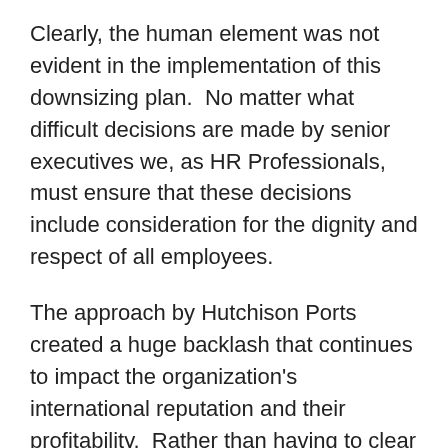Clearly, the human element was not evident in the implementation of this downsizing plan.  No matter what difficult decisions are made by senior executives we, as HR Professionals, must ensure that these decisions include consideration for the dignity and respect of all employees.
The approach by Hutchison Ports created a huge backlash that continues to impact the organization's international reputation and their profitability.  Rather than having to clear up the reputational mess that they find themselves in after the fact, it might have been better for Hutchison Ports to allocate a more time towards their communication strategy up front.
And, it might have been helpful to spend a few